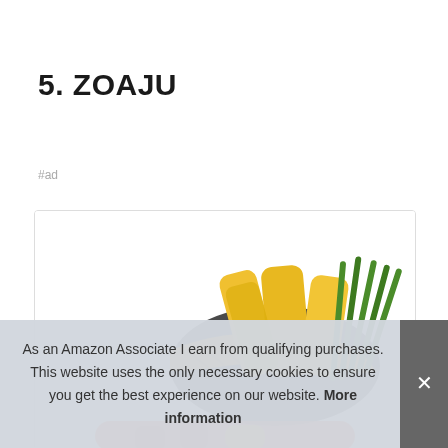5. ZOAJU
#ad
[Figure (photo): Product photo showing corn cobs and green beans in a colander/basket, partially visible, with more vegetables at the bottom]
As an Amazon Associate I earn from qualifying purchases. This website uses the only necessary cookies to ensure you get the best experience on our website. More information